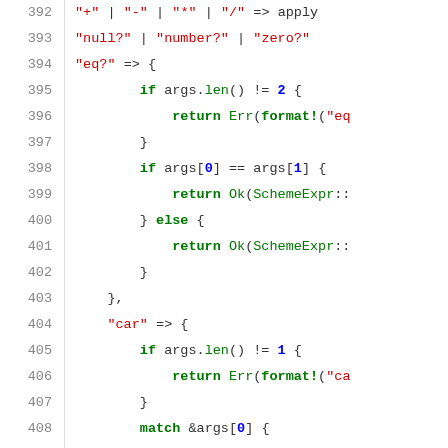[Figure (screenshot): Source code listing in Rust showing lines 392-418 of a Scheme interpreter implementation. Code includes pattern matching on string keys like 'eq?', 'car', 'cdr', with logic using if/else, return Ok/Err, match expressions, and format! macro calls.]